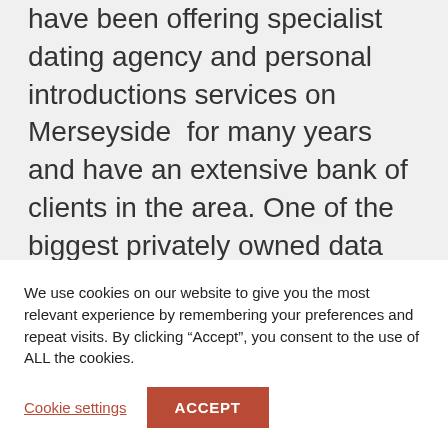have been offering specialist dating agency and personal introductions services on Merseyside  for many years and have an extensive bank of clients in the area. One of the biggest privately owned data bases in the UK in fact. Merseyside is a metropolitan county based in the North West of England and comprises of 5 metropolitan bor...
We use cookies on our website to give you the most relevant experience by remembering your preferences and repeat visits. By clicking “Accept”, you consent to the use of ALL the cookies.
Cookie settings
ACCEPT